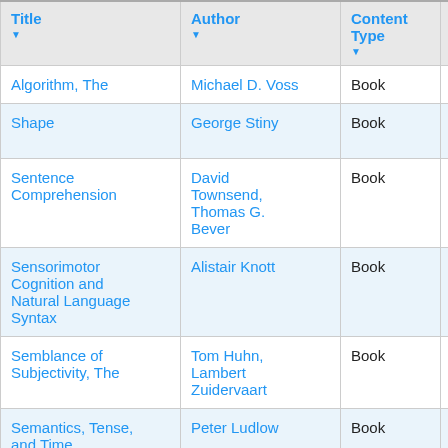| Title | Author | Content Type | Pub Date |
| --- | --- | --- | --- |
| Algorithm, The | Michael D. Voss | Book | 08-27 |
| Shape | George Stiny | Book | 2006-04-03 |
| Sentence Comprehension | David Townsend, Thomas G. Bever | Book | 2001-05-28 |
| Sensorimotor Cognition and Natural Language Syntax | Alistair Knott | Book | 2012-11-30 |
| Semblance of Subjectivity, The | Tom Huhn, Lambert Zuidervaart | Book | 1997-04-25 |
| Semantics, Tense, and Time | Peter Ludlow | Book | 1999-10-29 |
| Semantics and |  |  |  |